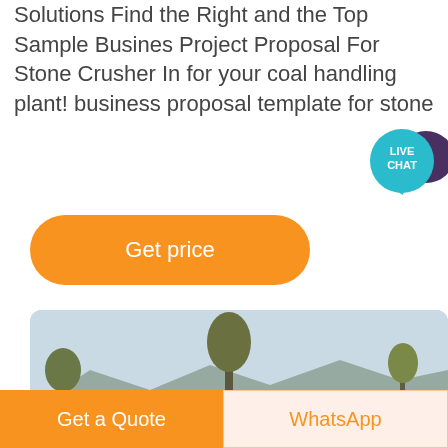Solutions Find the Right and the Top Sample Business Project Proposal For Stone Crusher In for your coal handling plant! business proposal template for stone
[Figure (other): Live Chat speech bubble icon in teal]
Get price
[Figure (photo): Outdoor photo of a stone crusher industrial site with conveyor belts, machinery, trees, and mountain backdrop]
Get a Quote
WhatsApp